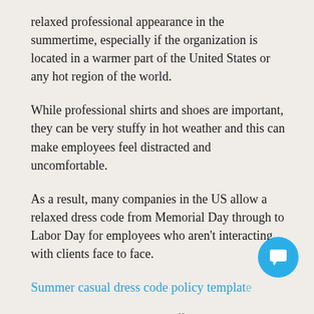relaxed professional appearance in the summertime, especially if the organization is located in a warmer part of the United States or any hot region of the world.
While professional shirts and shoes are important, they can be very stuffy in hot weather and this can make employees feel distracted and uncomfortable.
As a result, many companies in the US allow a relaxed dress code from Memorial Day through to Labor Day for employees who aren't interacting with clients face to face.
Summer casual dress code policy template
[Company Name] allows staff members to wear